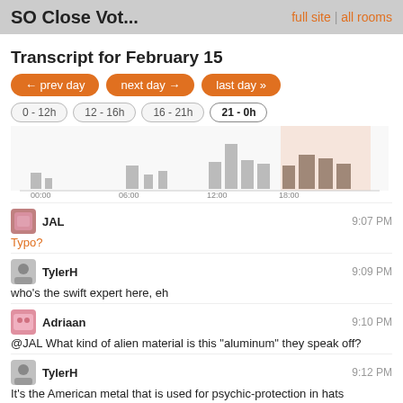SO Close Vot...  full site | all rooms
Transcript for February 15
← prev day
next day →
last day »
0 - 12h
12 - 16h
16 - 21h
21 - 0h
[Figure (bar-chart): Activity chart]
JAL  9:07 PM
Typo?
TylerH  9:09 PM
who's the swift expert here, eh
Adriaan  9:10 PM
@JAL What kind of alien material is this "aluminum" they speak off?
TylerH  9:12 PM
It's the American metal that is used for psychic-protection in hats
Adriaan  9:13 PM
oh, I'd rather use the real-world version, aluminium